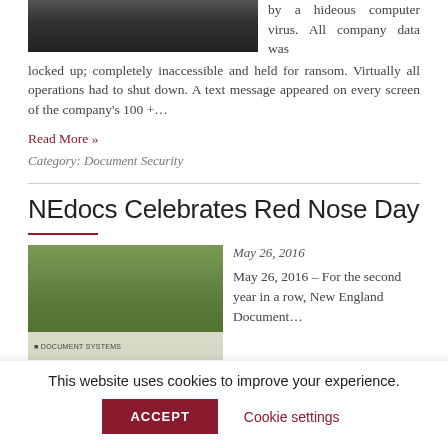[Figure (photo): Dark top image, appears to be a partial photo cropped at the top of the page]
by a hideous computer virus. All company data was locked up; completely inaccessible and held for ransom. Virtually all operations had to shut down. A text message appeared on every screen of the company's 100 +...
Read More »
Category: Document Security
NEdocs Celebrates Red Nose Day
[Figure (photo): Photo of people outside with trees and a New England Document Systems banner/sign visible]
May 26, 2016
May 26, 2016 – For the second year in a row, New England Document...
This website uses cookies to improve your experience.
ACCEPT
Cookie settings